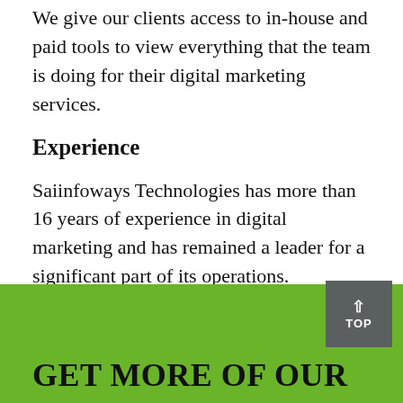We give our clients access to in-house and paid tools to view everything that the team is doing for their digital marketing services.
Experience
Saiinfoways Technologies has more than 16 years of experience in digital marketing and has remained a leader for a significant part of its operations.
GET MORE OF OUR